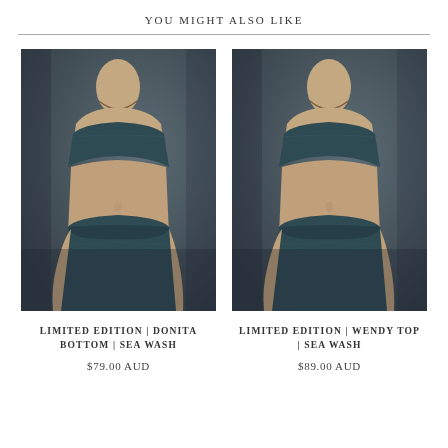YOU MIGHT ALSO LIKE
[Figure (photo): Woman wearing dark teal/sea wash bandeau bikini top and high-waist bikini bottom, dark grey background]
LIMITED EDITION | DONITA BOTTOM | SEA WASH
$79.00 AUD
[Figure (photo): Woman wearing dark teal/sea wash bandeau bikini top and high-waist bikini bottom, dark grey background]
LIMITED EDITION | WENDY TOP | SEA WASH
$89.00 AUD